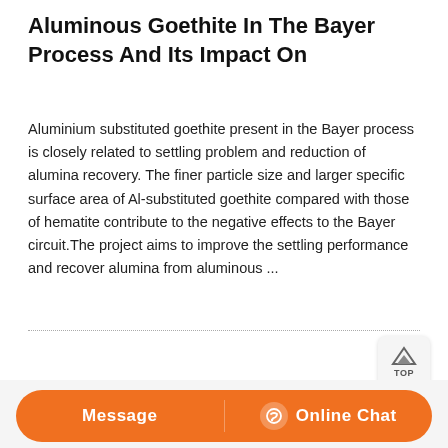Aluminous Goethite In The Bayer Process And Its Impact On
Aluminium substituted goethite present in the Bayer process is closely related to settling problem and reduction of alumina recovery. The finer particle size and larger specific surface area of Al-substituted goethite compared with those of hematite contribute to the negative effects to the Bayer circuit.The project aims to improve the settling performance and recover alumina from aluminous ...
[Figure (photo): Industrial facility photograph showing large orange/rust-colored mining or processing equipment with metal scaffolding and walkways, set against a rocky mountain backdrop.]